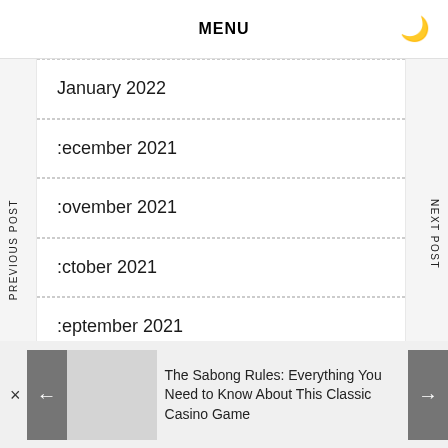MENU
January 2022
December 2021
November 2021
October 2021
September 2021
PREVIOUS POST
NEXT POST
The Sabong Rules: Everything You Need to Know About This Classic Casino Game